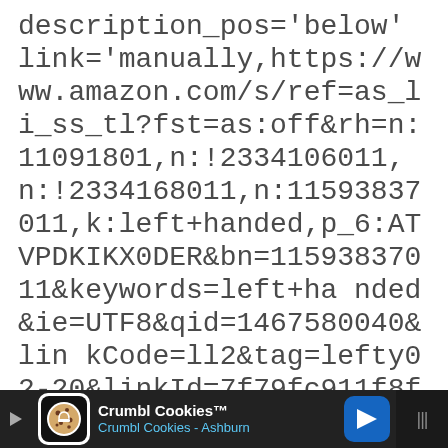description_pos='below' link='manually,https://www.amazon.com/s/ref=as_li_ss_tl?fst=as:off&rh=n:11091801,n:!2334106011,n:!2334168011,n:11593837011,k:left+handed,p_6:ATVPDKIKX0DER&bn=11593837011&keywords=left+handed&ie=UTF8&qid=1467580040&linkCode=ll2&tag=lefty02-20&linkId=7f79fc911f8f70a604ed02d3191adb84' link_target='_blank' icon_select='no' icon='ue800'
[Figure (screenshot): Advertisement bar at bottom of screen showing Crumbl Cookies ad with play button, cookie logo, title 'Crumbl Cookies™', subtitle 'Crumbl Cookies - Ashburn', navigation arrow button, and mute/volume icon]